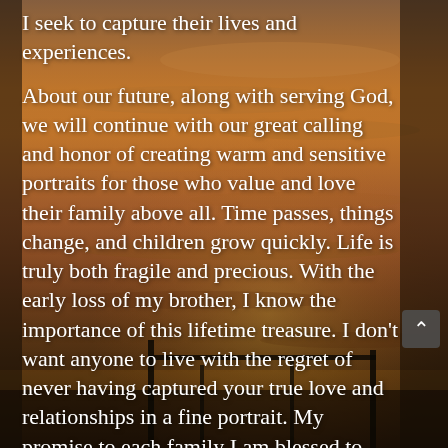I seek to capture their lives and experiences.
About our future, along with serving God, we will continue with our great calling and honor of creating warm and sensitive portraits for those who value and love their family above all. Time passes, things change, and children grow quickly. Life is truly both fragile and precious. With the early loss of my brother, I know the importance of this lifetime treasure. I don't want anyone to live with the regret of never having captured your true love and relationships in a fine portrait. My promise to each family I am blessed to work with is to always bring a tear of joy to your eye as you look into the
[Figure (photo): Sunset sky background with orange and golden hues, dark horizon with silhouetted structures at the bottom right]